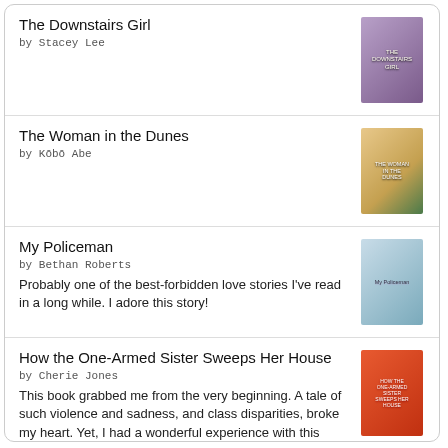The Downstairs Girl
by Stacey Lee
[Figure (illustration): Book cover of The Downstairs Girl by Stacey Lee]
The Woman in the Dunes
by Kōbō Abe
[Figure (illustration): Book cover of The Woman in the Dunes by Kōbō Abe]
My Policeman
by Bethan Roberts
Probably one of the best-forbidden love stories I've read in a long while. I adore this story!
[Figure (illustration): Book cover of My Policeman by Bethan Roberts]
How the One-Armed Sister Sweeps Her House
by Cherie Jones
This book grabbed me from the very beginning. A tale of such violence and sadness, and class disparities, broke my heart. Yet, I had a wonderful experience with this book.
[Figure (illustration): Book cover of How the One-Armed Sister Sweeps Her House by Cherie Jones]
goodreads®